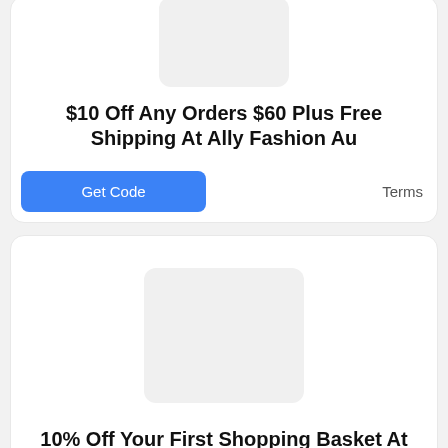[Figure (other): Placeholder image for Ally Fashion deal card 1]
$10 Off Any Orders $60 Plus Free Shipping At Ally Fashion Au
Get Code
Terms
[Figure (other): Placeholder image for Ally Fashion deal card 2]
10% Off Your First Shopping Basket At Ally Fashion